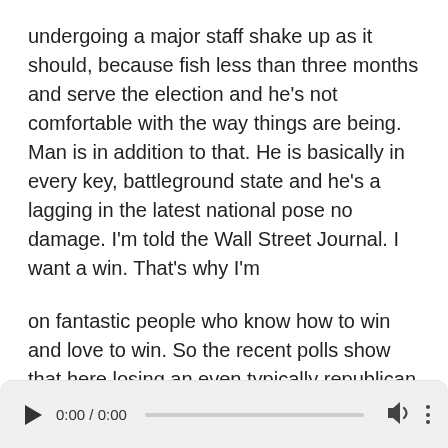undergoing a major staff shake up as it should, because fish less than three months and serve the election and he's not comfortable with the way things are being. Man is in addition to that. He is basically in every key, battleground state and he's a lagging in the latest national pose no damage. I'm told the Wall Street Journal. I want a win. That's why I'm
on fantastic people who know how to win and love to win. So the recent polls show that here losing an even typically republican states, like Georgia, okra adding The losers are absolutely all right, we'll as front page news. Now, let's talk forgiveness, the MILAN. They rely on world model, five, one that make Young said, he's repairing its relationship
[Figure (other): Audio player bar with play button, time display showing 0:00 / 0:00, a progress/seek bar, volume icon, and more options icon.]